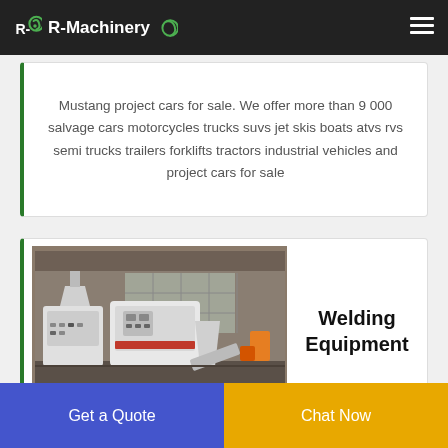R-Machinery
Mustang project cars for sale. We offer more than 9 000 salvage cars motorcycles trucks suvs jet skis boats atvs rvs semi trucks trailers forklifts tractors industrial vehicles and project cars for sale
[Figure (photo): Industrial welding / processing equipment in a warehouse. White machinery with control panels and conveyor components on a factory floor.]
Welding Equipment
Get a Quote
Chat Now